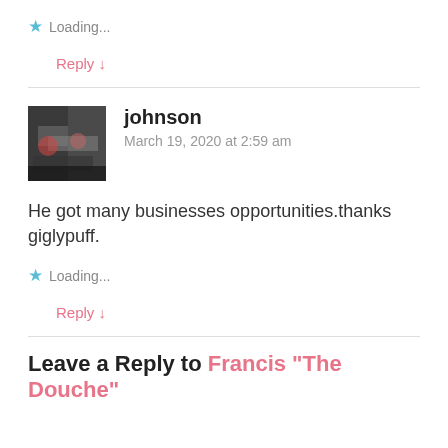★ Loading...
Reply ↓
johnson
March 19, 2020 at 2:59 am
He got many businesses opportunities.thanks giglypuff.
★ Loading...
Reply ↓
Leave a Reply to Francis "The Douche"